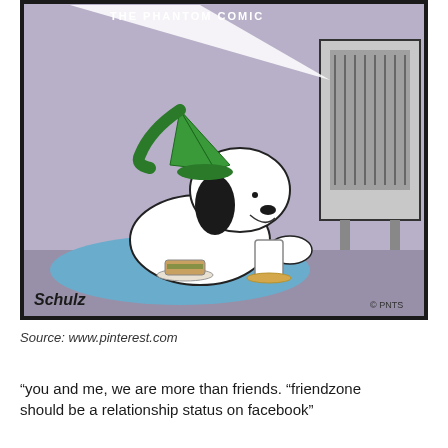[Figure (illustration): Peanuts comic strip panel showing Snoopy wearing a green nightcap and lying on a blue blanket, watching TV late at night with a sandwich on a plate and a glass of milk on a coaster. A white light beam from the TV illuminates the dark room. Schulz signature in bottom left, © PNTS in bottom right.]
Source: www.pinterest.com
“you and me, we are more than friends. “friendzone should be a relationship status on facebook”